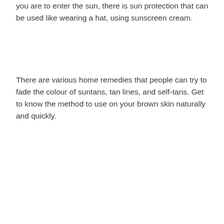you are to enter the sun, there is sun protection that can be used like wearing a hat, using sunscreen cream.
There are various home remedies that people can try to fade the colour of suntans, tan lines, and self-tans. Get to know the method to use on your brown skin naturally and quickly.